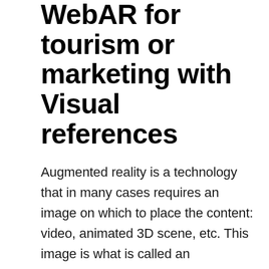WebAR for tourism or marketing with Visual references
Augmented reality is a technology that in many cases requires an image on which to place the content: video, animated 3D scene, etc. This image is what is called an experience marker, and it is the image to be recognized and subsequently tracked through the camera.